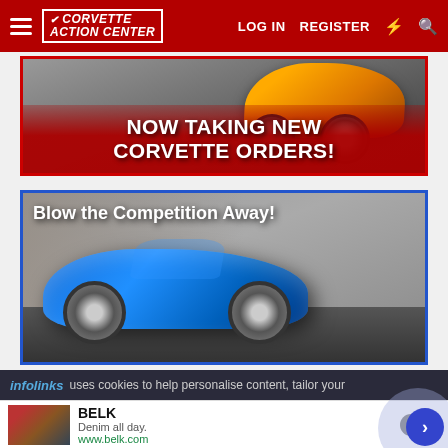Corvette Action Center — LOG IN  REGISTER
[Figure (photo): Banner ad showing an orange Corvette on a racetrack with text 'NOW TAKING NEW CORVETTE ORDERS!' on a red overlay]
[Figure (photo): Advertisement banner showing a blue Chevrolet Corvette Stingray on a racetrack with bold text 'Blow the Competition Away!']
infolinks  uses cookies to help personalise content, tailor your
[Figure (other): BELK advertisement: Denim all day. www.belk.com with a thumbnail and blue circle navigation button]